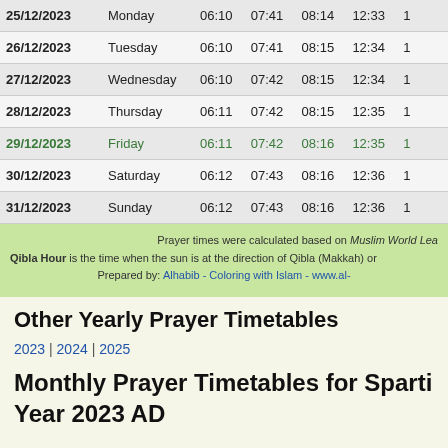| Date | Day | Col3 | Col4 | Col5 | Col6 | Col7 |
| --- | --- | --- | --- | --- | --- | --- |
| 25/12/2023 | Monday | 06:10 | 07:41 | 08:14 | 12:33 | 1 |
| 26/12/2023 | Tuesday | 06:10 | 07:41 | 08:15 | 12:34 | 1 |
| 27/12/2023 | Wednesday | 06:10 | 07:42 | 08:15 | 12:34 | 1 |
| 28/12/2023 | Thursday | 06:11 | 07:42 | 08:15 | 12:35 | 1 |
| 29/12/2023 | Friday | 06:11 | 07:42 | 08:16 | 12:35 | 1 |
| 30/12/2023 | Saturday | 06:12 | 07:43 | 08:16 | 12:36 | 1 |
| 31/12/2023 | Sunday | 06:12 | 07:43 | 08:16 | 12:36 | 1 |
Prayer times were calculated based on Muslim World Lea... Qibla Hour is the time when the sun is at the direction of Qibla (Makkah) or... Prepared by: Alhabib - Coloring with Islam - www.al-...
Other Yearly Prayer Timetables
2023 | 2024 | 2025
Monthly Prayer Timetables for Sparti Year 2023 AD